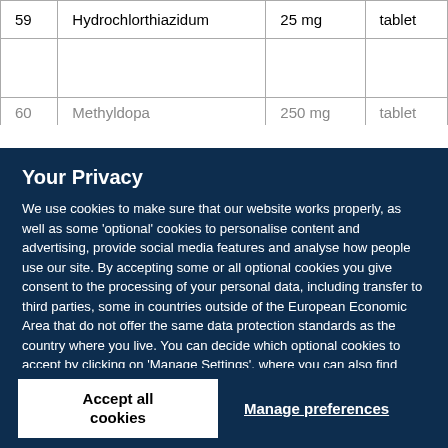| 59 | Hydrochlorthiazidum | 25 mg | tablet |
| 60 | Methyldopa | 250 mg | tablet |
Your Privacy
We use cookies to make sure that our website works properly, as well as some 'optional' cookies to personalise content and advertising, provide social media features and analyse how people use our site. By accepting some or all optional cookies you give consent to the processing of your personal data, including transfer to third parties, some in countries outside of the European Economic Area that do not offer the same data protection standards as the country where you live. You can decide which optional cookies to accept by clicking on 'Manage Settings', where you can also find more information about how your personal data is processed. Further information can be found in our privacy policy.